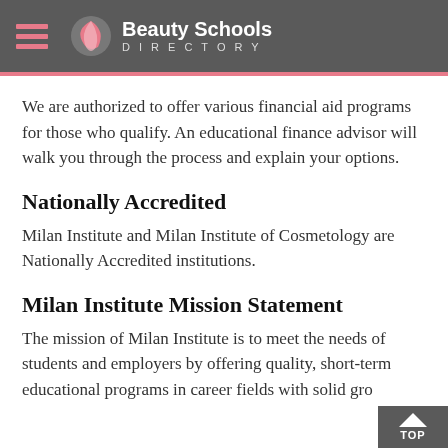Beauty Schools DIRECTORY
We are authorized to offer various financial aid programs for those who qualify. An educational finance advisor will walk you through the process and explain your options.
Nationally Accredited
Milan Institute and Milan Institute of Cosmetology are Nationally Accredited institutions.
Milan Institute Mission Statement
The mission of Milan Institute is to meet the needs of students and employers by offering quality, short-term educational programs in career fields with solid gro